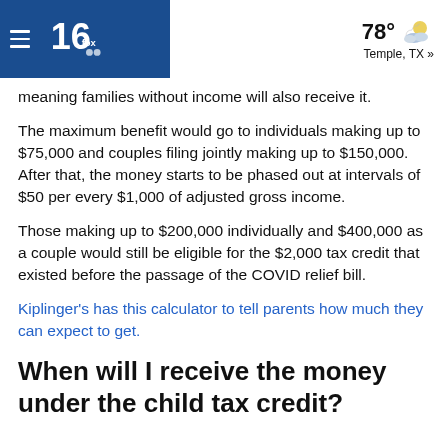KVCT Fox 19 — 78° Temple, TX »
meaning families without income will also receive it.
The maximum benefit would go to individuals making up to $75,000 and couples filing jointly making up to $150,000. After that, the money starts to be phased out at intervals of $50 per every $1,000 of adjusted gross income.
Those making up to $200,000 individually and $400,000 as a couple would still be eligible for the $2,000 tax credit that existed before the passage of the COVID relief bill.
Kiplinger's has this calculator to tell parents how much they can expect to get.
When will I receive the money under the child tax credit?